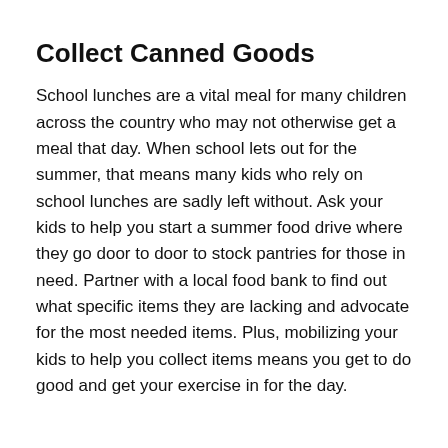Collect Canned Goods
School lunches are a vital meal for many children across the country who may not otherwise get a meal that day. When school lets out for the summer, that means many kids who rely on school lunches are sadly left without. Ask your kids to help you start a summer food drive where they go door to door to stock pantries for those in need. Partner with a local food bank to find out what specific items they are lacking and advocate for the most needed items. Plus, mobilizing your kids to help you collect items means you get to do good and get your exercise in for the day.
Make Your Version of a Lemonade Stand
A lemonade stand is the ultimate beginning for an entrepreneur, and it has ties to the ultimate summer